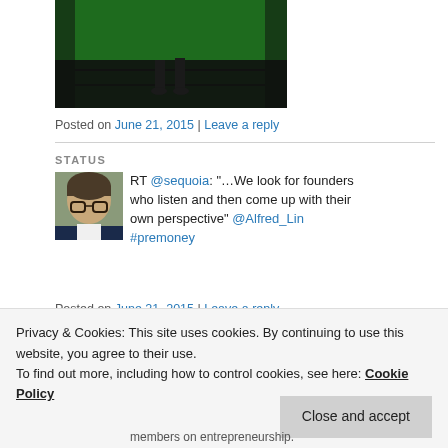[Figure (photo): A photo showing green stage/floor area with dark curtains in background, appears to be a conference stage.]
Posted on June 21, 2015 | Leave a reply
STATUS
[Figure (photo): Profile photo of a man with glasses and dark hair.]
RT @sequoia: "…We look for founders who listen and then come up with their own perspective" @Alfred_Lin #premoney
Posted on June 21, 2015 | Leave a reply
Privacy & Cookies: This site uses cookies. By continuing to use this website, you agree to their use.
To find out more, including how to control cookies, see here: Cookie Policy
Close and accept
members on entrepreneurship.